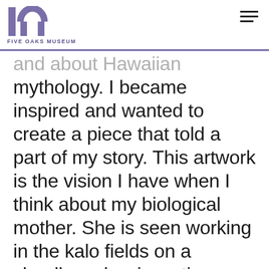FIVE OAKS MUSEUM
and about Hawaiian mythology. I became inspired and wanted to create a piece that told a part of my story. This artwork is the vision I have when I think about my biological mother. She is seen working in the kalo fields on a cloudless day, investing herself into the land. She has always been this way and now living on the "mainland", I often wish that I had